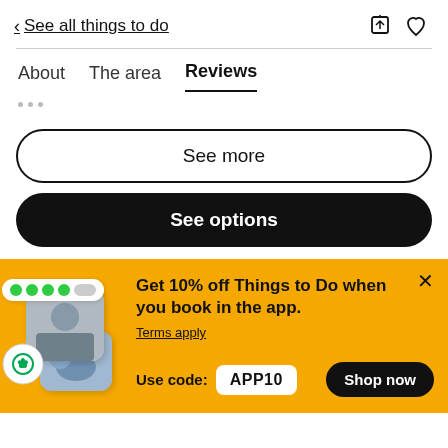< See all things to do
About   The area   Reviews
See more
See options
Get 10% off Things to Do when you book in the app. Terms apply  Use code: APP10   Shop now